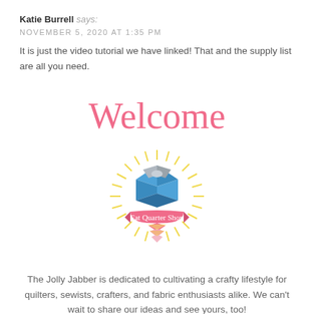Katie Burrell says:
NOVEMBER 5, 2020 AT 1:35 PM
It is just the video tutorial we have linked! That and the supply list are all you need.
Welcome
[Figure (logo): Fat Quarter Shop logo: a gift box shape made of blue, gray geometric pieces with yellow sunburst rays behind it, pink/yellow chevron below, and a pink ribbon banner reading 'Fat Quarter Shop']
The Jolly Jabber is dedicated to cultivating a crafty lifestyle for quilters, sewists, crafters, and fabric enthusiasts alike. We can't wait to share our ideas and see yours, too!